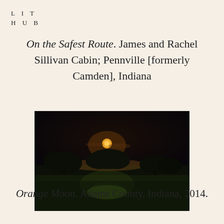LIT HUB
On the Safest Route. James and Rachel Sillivan Cabin; Pennville [formerly Camden], Indiana
[Figure (photo): A nighttime photograph of a dark field with trees on the horizon and an orange moon glowing just above the treeline, illuminating the scene faintly below.]
Orange Moon. Adams County, Indiana, 2014.